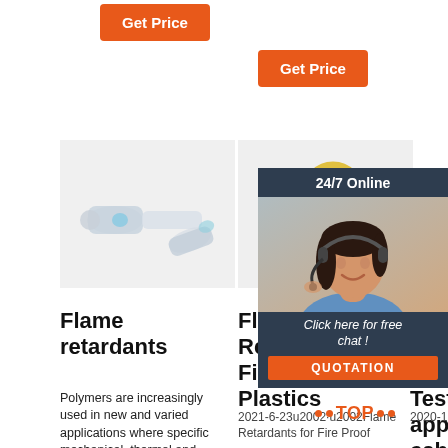[Figure (other): Orange 'Get Price' button, left column]
[Figure (other): Orange 'Get Price' button, center column]
[Figure (photo): Electrical connectors - heat shrink butt connectors, translucent/white]
[Figure (photo): Ring terminal connectors in blue, yellow, and red/pink colors]
[Figure (photo): Customer service representative with headset - 24/7 Online chat panel with HP logo, 'Click here for free chat!', and QUOTATION button]
Flame retardants
Flame Retardants for Fire Proof Plastics
Und MV Cab Testing, applications, cable ...
Polymers are increasingly used in new and varied applications where specific mechanical, thermal and electrical
2021-6-23u2002·u2002Flame Retardants for Fire Proof
2020-11-10u2002·u2002A
[Figure (other): TOP badge with orange dots]